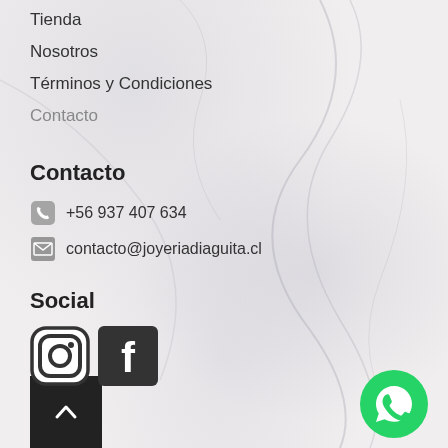Tienda
Nosotros
Términos y Condiciones
Contacto
Contacto
+56 937 407 634
contacto@joyeriadiaguita.cl
Social
[Figure (logo): Instagram icon (rounded square outline style)]
[Figure (logo): Facebook icon (black square with white F)]
[Figure (logo): WhatsApp button (green circle with phone handset icon)]